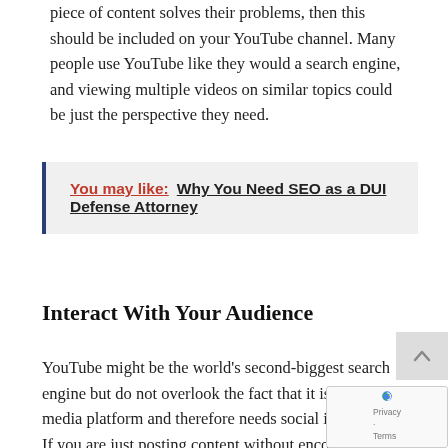piece of content solves their problems, then this should be included on your YouTube channel. Many people use YouTube like they would a search engine, and viewing multiple videos on similar topics could be just the perspective they need.
You may like:  Why You Need SEO as a DUI Defense Attorney
Interact With Your Audience
YouTube might be the world's second-biggest search engine but do not overlook the fact that it is a social media platform and therefore needs social interaction. If you are just posting content without encouraging comments and discussion, then your channel is seriously missing out on a trick. YouTube actually rewards channels that have good engagement rates, so try to interact and respond to every comment your videos receive. Answer